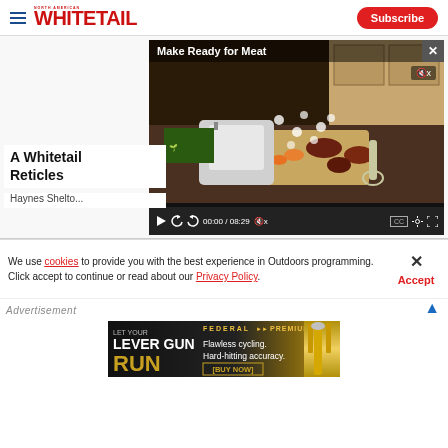North American Whitetail | Subscribe
[Figure (screenshot): Video player showing 'Make Ready for Meat' with kitchen/food preparation scene, controls showing 00:00 / 08:29]
A Whitetail ... Reticles
Haynes Shelto...
We use cookies to provide you with the best experience in Outdoors programming. Click accept to continue or read about our Privacy Policy.
[Figure (illustration): Federal Premium advertisement: LET YOUR LEVER GUN RUN - Flawless cycling. Hard-hitting accuracy. [BUY NOW]]